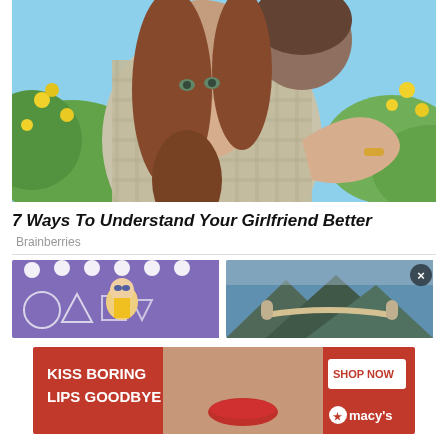[Figure (photo): Couple embracing outdoors with yellow flowers in the background; woman with long brown hair looks at camera over man's shoulder]
7 Ways To Understand Your Girlfriend Better
Brainberries
[Figure (photo): Left thumbnail: colorful pink/teal background with Squid Game doll figure. Right thumbnail: aerial view of Golden Bridge in Vietnam with stone hands.]
[Figure (photo): Advertisement banner: KISS BORING LIPS GOODBYE - woman with red lips - SHOP NOW - macy's logo]